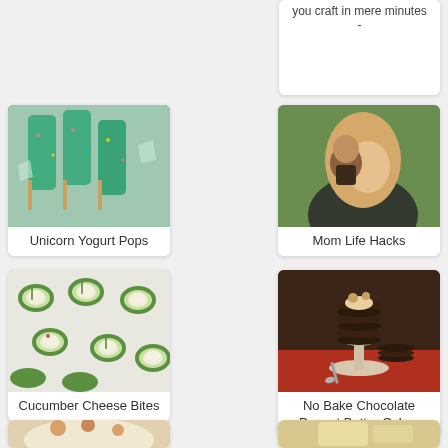you craft in mere minutes -
[Figure (photo): Unicorn yogurt pops — colorful popsicles in green molds on ice]
Unicorn Yogurt Pops
[Figure (photo): Mom holding a toddler outdoors — mom life hacks photo]
Mom Life Hacks
[Figure (photo): Cucumber cheese bites — cucumber slices topped with cream cheese and herbs on a white surface]
Cucumber Cheese Bites
[Figure (photo): No bake chocolate peanut butter cakes — stacked dark pancakes on a white cake stand with a red tablecloth]
No Bake Chocolate Peanut Butter Cakes
[Figure (photo): Partial view of a soup or stew in a white bowl]
[Figure (photo): Partial view of a light-colored food item]